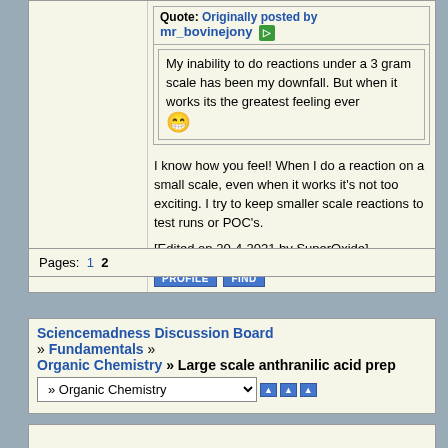Quote: Originally posted by mr_bovinejony
My inability to do reactions under a 3 gram scale has been my downfall. But when it works its the greatest feeling ever 😁
I know how you feel! When I do a reaction on a small scale, even when it works it's not too exciting. I try to keep smaller scale reactions to test runs or POC's.
[Edited on 20-4-2021 by SuperOxide]
Pages: 1 2
Sciencemadness Discussion Board » Fundamentals » Organic Chemistry » Large scale anthranilic acid prep
» Organic Chemistry